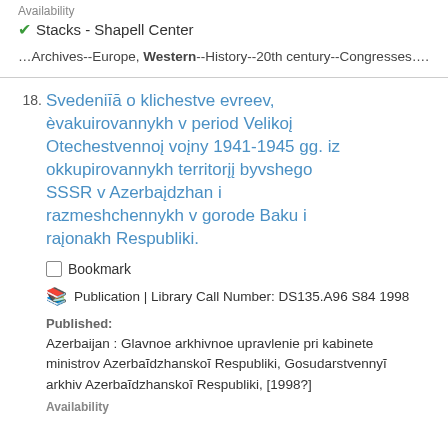Availability
✔ Stacks - Shapell Center
…Archives--Europe, Western--History--20th century--Congresses….
18. Svedeniia o klichestve evreev, evakuirovannykh v period Velikoĭ Otechestvennoĭ voĭny 1941-1945 gg. iz okkupirovannykh territoriĭ byvshego SSSR v Azerbaĭdzhan i razmeshchennykh v gorode Baku i raĭonakh Respubliki.
Bookmark
Publication | Library Call Number: DS135.A96 S84 1998
Published: Azerbaijan : Glavnoe arkhivnoe upravlenie pri kabinete ministrov Azerbaĭdzhanskoĭ Respubliki, Gosudarstvennyĭ arkhiv Azerbaĭdzhanskoĭ Respubliki, [1998?]
Availability